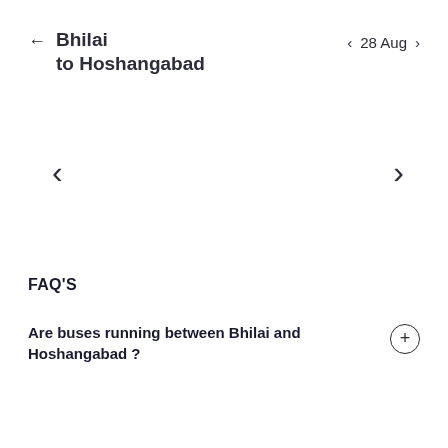Bhilai to Hoshangabad
28 Aug
FAQ'S
Are buses running between Bhilai and Hoshangabad ?